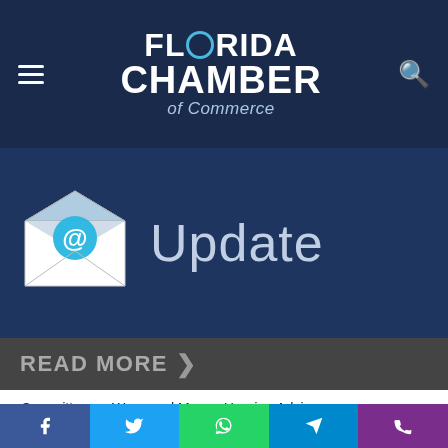Florida Chamber of Commerce
[Figure (logo): Florida Chamber of Commerce logo with envelope/update graphic and 'Update' text]
READ MORE >
Committee on Ways and Means Hearing Advisory
House Ways and Means Trade Subcommittee Chairman Devin Nunes (R-CA) today announced that the Subcommittee will hold a hearing on the U.S. trade agenda and the World
Social share bar: Facebook, Twitter, WhatsApp, Telegram, Phone